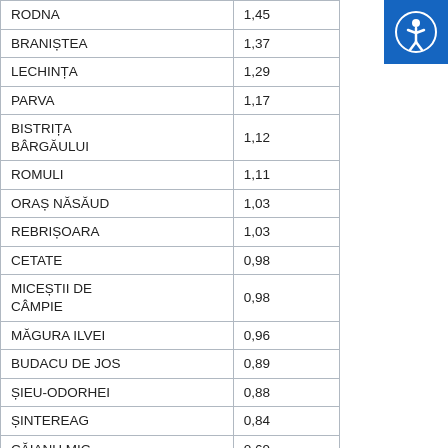| RODNA | 1,45 |
| BRANIȘTEA | 1,37 |
| LECHINȚA | 1,29 |
| PARVA | 1,17 |
| BISTRIȚA BÂRGĂULUI | 1,12 |
| ROMULI | 1,11 |
| ORAȘ NĂSĂUD | 1,03 |
| REBRIȘOARA | 1,03 |
| CETATE | 0,98 |
| MICEȘTII DE CÂMPIE | 0,98 |
| MĂGURA ILVEI | 0,96 |
| BUDACU DE JOS | 0,89 |
| ȘIEU-ODORHEI | 0,88 |
| ȘINTEREAG | 0,84 |
| CĂIANU MIC | 0,69 |
| TÂRLIȘUA | 0,62 |